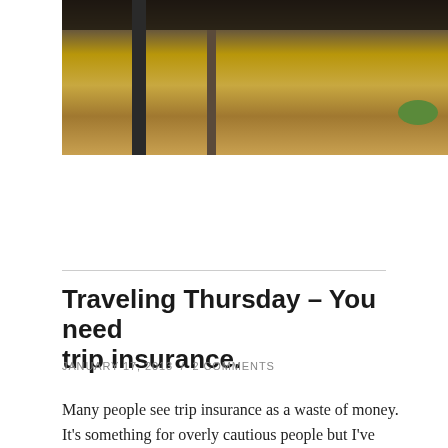[Figure (photo): Outdoor photo showing a wooden pole/post with dark top against a sandy/dirt background with sparse vegetation]
Traveling Thursday – You need trip insurance.
JANUARY 17, 2013  /  2 COMMENTS
Many people see trip insurance as a waste of money. It's something for overly cautious people but I've seen enough sickness and travel SNAFU's to tell you that travel insurance should be purchased whenever you are making non-refundable arrangements.